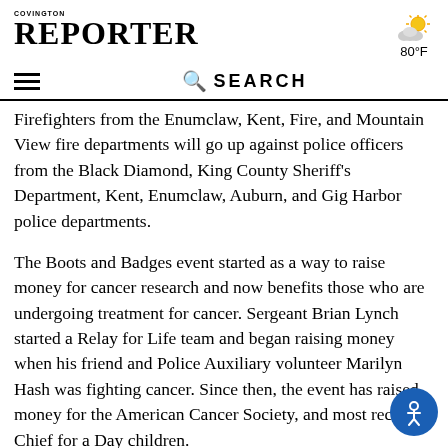COVINGTON REPORTER
Firefighters from the Enumclaw, Kent, Fire, and Mountain View fire departments will go up against police officers from the Black Diamond, King County Sheriff's Department, Kent, Enumclaw, Auburn, and Gig Harbor police departments.
The Boots and Badges event started as a way to raise money for cancer research and now benefits those who are undergoing treatment for cancer. Sergeant Brian Lynch started a Relay for Life team and began raising money when his friend and Police Auxiliary volunteer Marilyn Hash was fighting cancer. Since then, the event has raised money for the American Cancer Society, and most recently Chief for a Day children.